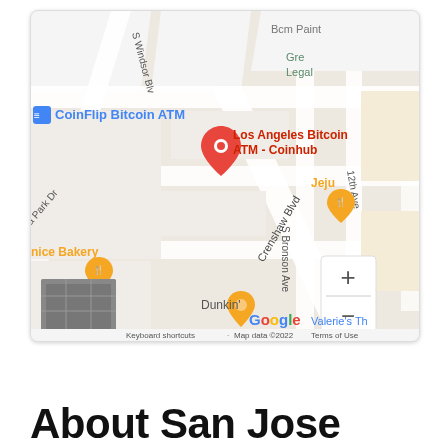[Figure (map): Google Maps screenshot showing area near Crenshaw Blvd in Los Angeles. Visible labels include: CoinFlip Bitcoin ATM (blue), Los Angeles Bitcoin ATM - Coinhub (red pin), Jeju restaurant (orange pin), nice Bakery (orange pin), Dunkin' (orange pin), Valerie's Th..., S Windsor Blvd, Crenshaw Blvd, S Bronson Ave, 12th Ave, 6th A..., ia Park Dr, Bcm Paint, Gre Legal. Zoom controls (+/-) in bottom right. Street map thumbnail bottom left. Google logo and attribution bar at bottom.]
About San Jose